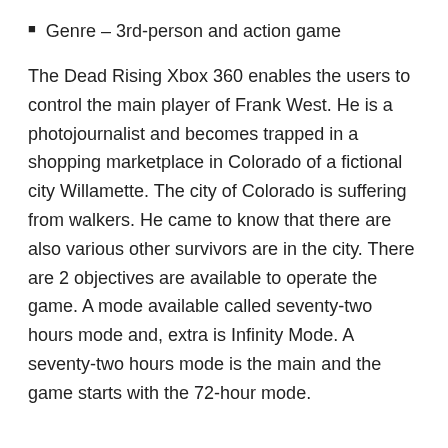Genre – 3rd-person and action game
The Dead Rising Xbox 360 enables the users to control the main player of Frank West. He is a photojournalist and becomes trapped in a shopping marketplace in Colorado of a fictional city Willamette. The city of Colorado is suffering from walkers. He came to know that there are also various other survivors are in the city. There are 2 objectives are available to operate the game. A mode available called seventy-two hours mode and, extra is Infinity Mode. A seventy-two hours mode is the main and the game starts with the 72-hour mode.
More: – I hope friends you will get your favorite game Dead Rising for your gaming console. We are regularly uploading new latest blogs on our website and articles. If you want